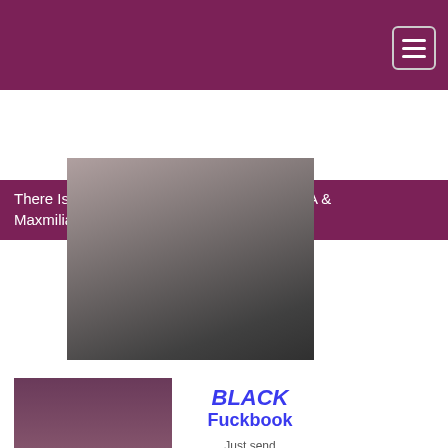There Is No Place I Would Rather Be - Dido A & Maxmilian Dior - SexArt
[Figure (photo): A photo partially visible, blurred/obscured adult content image]
[Figure (photo): Advertisement banner: BLACK Fuckbook - Just send a message and ask to fuck - No Registration No Bullshit - VIEW PICS, with photo of woman on left side]